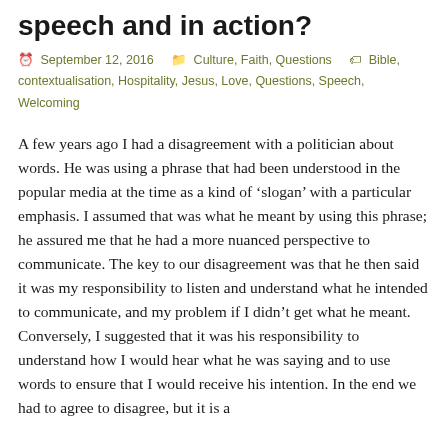speech and in action?
September 12, 2016   Culture, Faith, Questions   Bible, contextualisation, Hospitality, Jesus, Love, Questions, Speech, Welcoming
A few years ago I had a disagreement with a politician about words. He was using a phrase that had been understood in the popular media at the time as a kind of ‘slogan’ with a particular emphasis. I assumed that was what he meant by using this phrase; he assured me that he had a more nuanced perspective to communicate. The key to our disagreement was that he then said it was my responsibility to listen and understand what he intended to communicate, and my problem if I didn’t get what he meant. Conversely, I suggested that it was his responsibility to understand how I would hear what he was saying and to use words to ensure that I would receive his intention. In the end we had to agree to disagree, but it is a